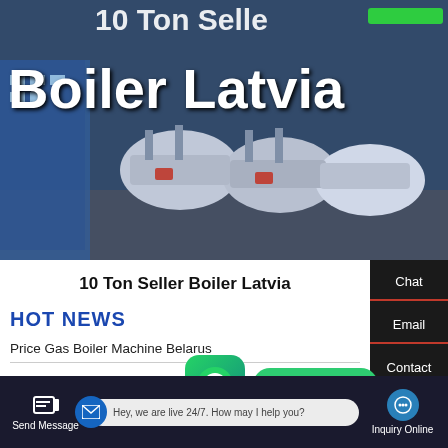[Figure (photo): Hero image showing industrial boilers in a facility with blue tones, partially visible title text '10 Ton Seller' at top]
Boiler Latvia
10 Ton Seller Boiler Latvia
HOT NEWS
Price Gas Boiler Machine Belarus
[Figure (infographic): WhatsApp icon button (green rounded square) with 'Contact us now!' green pill button beside it]
Send Message | Hey, we are live 24/7. How may I help you? | Inquiry Online